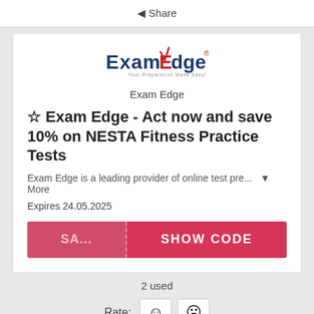◄ Share
[Figure (logo): ExamEdge logo with red and blue text and tagline]
Exam Edge
☆ Exam Edge - Act now and save 10% on NESTA Fitness Practice Tests
Exam Edge is a leading provider of online test pre…  ▼ More
Expires 24.05.2025
SA... SHOW CODE
2 used
Rate: ☺ ☹